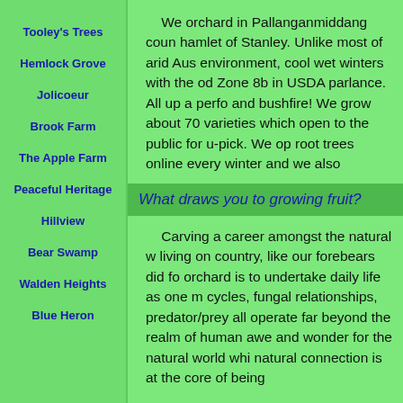Tooley's Trees
Hemlock Grove
Jolicoeur
Brook Farm
The Apple Farm
Peaceful Heritage
Hillview
Bear Swamp
Walden Heights
Blue Heron
We orchard in Pallanganmiddang coun hamlet of Stanley. Unlike most of arid Aus environment, cool wet winters with the od Zone 8b in USDA parlance. All up a perf and bushfire! We grow about 70 varieties which open to the public for u-pick. We op root trees online every winter and we also
What draws you to growing fruit?
Carving a career amongst the natural w living on country, like our forebears did fo orchard is to undertake daily life as one m cycles, fungal relationships, predator/prey all operate far beyond the realm of human awe and wonder for the natural world whi natural connection is at the core of being